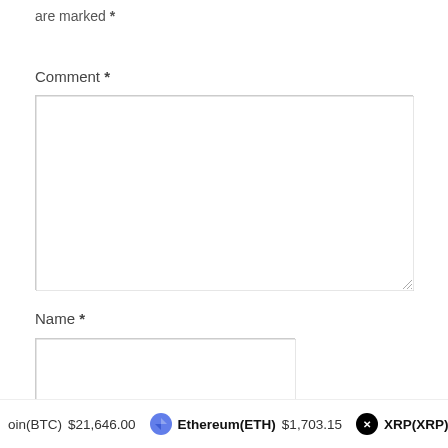are marked *
Comment *
[Figure (screenshot): Empty comment text area input box with resize handle]
Name *
[Figure (screenshot): Empty name text input box]
oin(BTC) $21,646.00   Ethereum(ETH) $1,703.15   XRP(XRP)